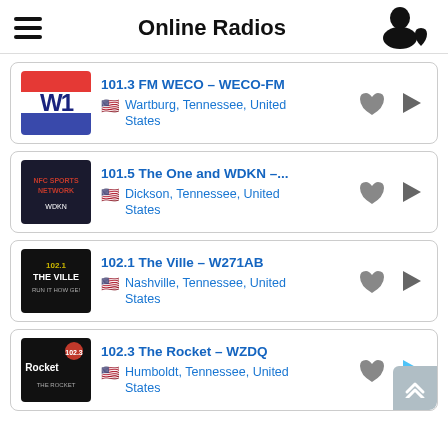Online Radios
101.3 FM WECO – WECO-FM
Wartburg, Tennessee, United States
101.5 The One and WDKN –...
Dickson, Tennessee, United States
102.1 The Ville – W271AB
Nashville, Tennessee, United States
102.3 The Rocket – WZDQ
Humboldt, Tennessee, United States